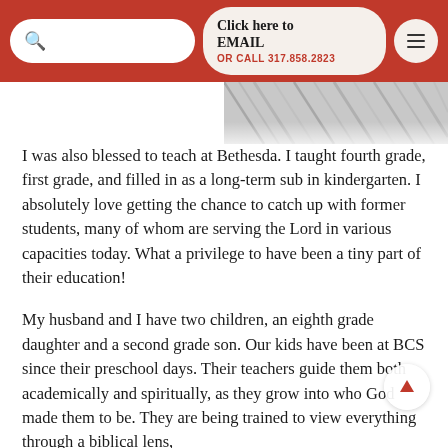Click here to EMAIL OR CALL 317.858.2823
[Figure (photo): Partial photo of a person, black and white, cropped at top right]
I was also blessed to teach at Bethesda. I taught fourth grade, first grade, and filled in as a long-term sub in kindergarten. I absolutely love getting the chance to catch up with former students, many of whom are serving the Lord in various capacities today. What a privilege to have been a tiny part of their education!
My husband and I have two children, an eighth grade daughter and a second grade son. Our kids have been at BCS since their preschool days. Their teachers guide them both academically and spiritually, as they grow into who God made them to be. They are being trained to view everything through a biblical lens,